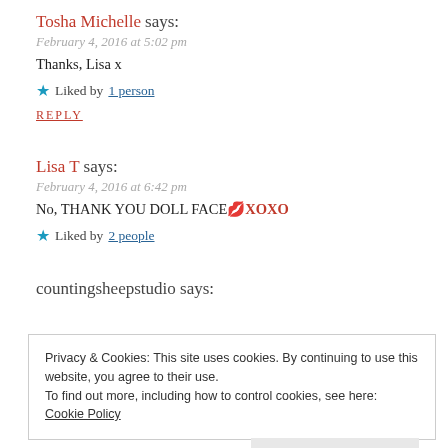Tosha Michelle says:
February 4, 2016 at 5:02 pm
Thanks, Lisa x
★ Liked by 1 person
REPLY
Lisa T says:
February 4, 2016 at 6:42 pm
No, THANK YOU DOLL FACE 💋XOXO
★ Liked by 2 people
countingsheepstudio says:
Privacy & Cookies: This site uses cookies. By continuing to use this website, you agree to their use. To find out more, including how to control cookies, see here: Cookie Policy
Close and accept